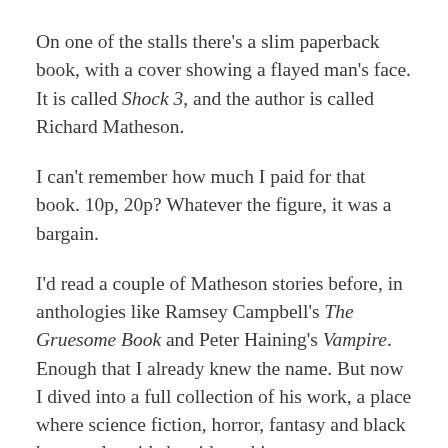On one of the stalls there's a slim paperback book, with a cover showing a flayed man's face. It is called Shock 3, and the author is called Richard Matheson.
I can't remember how much I paid for that book. 10p, 20p? Whatever the figure, it was a bargain.
I'd read a couple of Matheson stories before, in anthologies like Ramsey Campbell's The Gruesome Book and Peter Haining's Vampire. Enough that I already knew the name. But now I dived into a full collection of his work, a place where science fiction, horror, fantasy and black humour lay side by side and in many cases intermingled.
Matheson was a brilliant storyteller.
Just to clarify, I don't mean that in the much-abused modern sense used to describe talent vacuums like